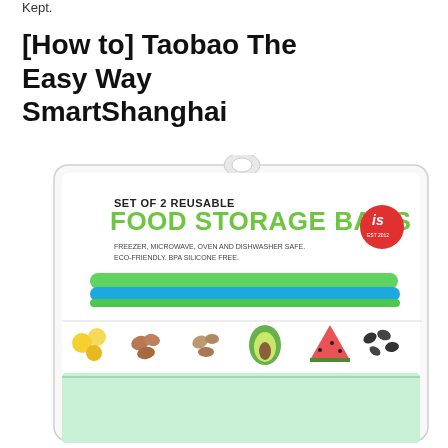Kept.
[How to] Taobao The Easy Way SmartShanghai
[Figure (photo): Product packaging for 'Set of 2 Reusable Food Storage Bags' by IS brand. Package shows green and blue silicone bags with text: FREEZER, MICROWAVE, OVEN AND DISHWASHER SAFE. ECO-FRIENDLY. BPA SILICONE FREE. Bottom shows food icons including fruit, grains, avocado, watermelon, and seeds.]